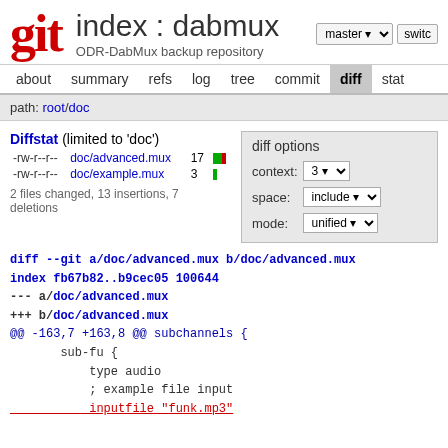git   index : dabmux   ODR-DabMux backup repository
about  summary  refs  log  tree  commit  diff  stat
path: root/doc
Diffstat (limited to 'doc')
-rw-r--r-- doc/advanced.mux 17
-rw-r--r-- doc/example.mux 3
2 files changed, 13 insertions, 7 deletions
diff options
context: 3
space: include
mode: unified
diff --git a/doc/advanced.mux b/doc/advanced.mux
index fb67b82..b9cec05 100644
--- a/doc/advanced.mux
+++ b/doc/advanced.mux
@@ -163,7 +163,8 @@ subchannels {
        sub-fu {
            type audio
            ; example file input
            inputfile "funk.mp3"